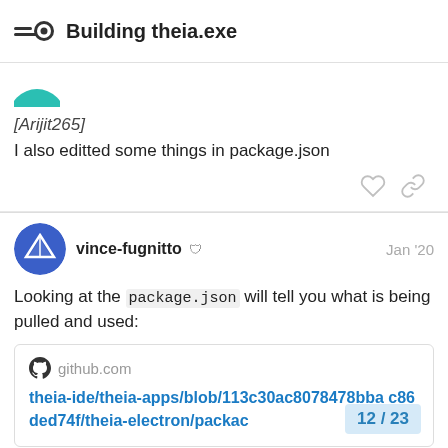Building theia.exe
[Arijit265]
I also editted some things in package.json
vince-fugnitto  Jan '20
Looking at the package.json will tell you what is being pulled and used:
github.com
theia-ide/theia-apps/blob/113c30ac8078478bba c86ded74f/theia-electron/packac